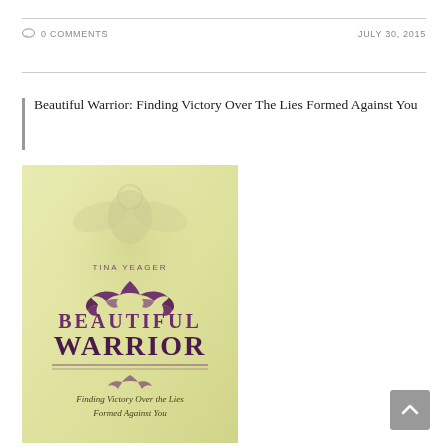0 COMMENTS    JULY 30, 2015
Beautiful Warrior: Finding Victory Over The Lies Formed Against You
[Figure (photo): Book cover of 'Beautiful Warrior: Finding Victory Over the Lies Formed Against You' by Tina Yeager. Light yellow-green background with decorative purple ornamental flourishes and a silhouette of an angel figure at top.]